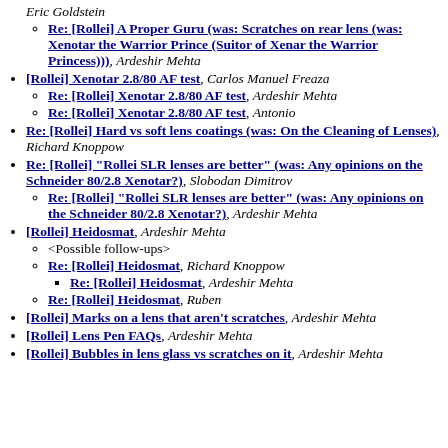Eric Goldstein
Re: [Rollei] A Proper Guru (was: Scratches on rear lens (was: Xenotar the Warrior Prince (Suitor of Xenar the Warrior Princess))), Ardeshir Mehta
[Rollei] Xenotar 2.8/80 AF test, Carlos Manuel Freaza
Re: [Rollei] Xenotar 2.8/80 AF test, Ardeshir Mehta
Re: [Rollei] Xenotar 2.8/80 AF test, Antonio
Re: [Rollei] Hard vs soft lens coatings (was: On the Cleaning of Lenses), Richard Knoppow
Re: [Rollei] "Rollei SLR lenses are better" (was: Any opinions on the Schneider 80/2.8 Xenotar?), Slobodan Dimitrov
Re: [Rollei] "Rollei SLR lenses are better" (was: Any opinions on the Schneider 80/2.8 Xenotar?), Ardeshir Mehta
[Rollei] Heidosmat, Ardeshir Mehta
<Possible follow-ups>
Re: [Rollei] Heidosmat, Richard Knoppow
Re: [Rollei] Heidosmat, Ardeshir Mehta
Re: [Rollei] Heidosmat, Ruben
[Rollei] Marks on a lens that aren't scratches, Ardeshir Mehta
[Rollei] Lens Pen FAQs, Ardeshir Mehta
[Rollei] Bubbles in lens glass vs scratches on it, Ardeshir Mehta